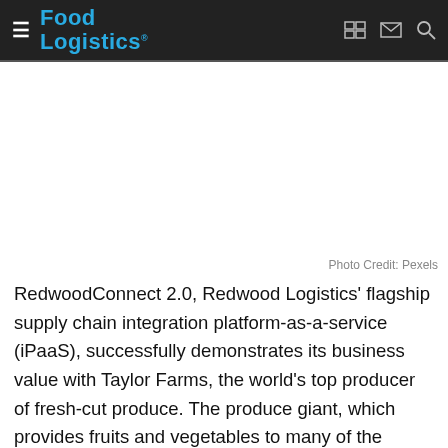Food Logistics
[Figure (photo): White/blank image space below the header navigation bar, representing a placeholder for a photograph (likely food or produce imagery). Photo credit: Pexels.]
Photo Credit: Pexels
RedwoodConnect 2.0, Redwood Logistics' flagship supply chain integration platform-as-a-service (iPaaS), successfully demonstrates its business value with Taylor Farms, the world's top producer of fresh-cut produce. The produce giant, which provides fruits and vegetables to many of the